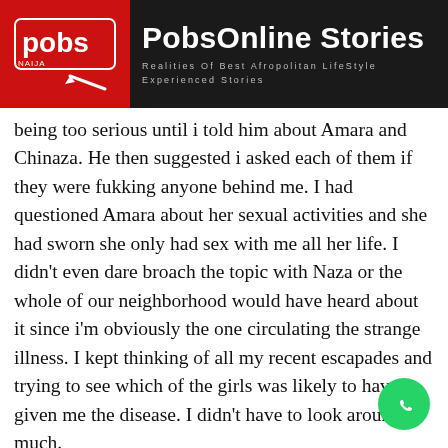PobsOnline Stories — Realities Of Best Afropolitan LifeStyle Experienced Stories
being too serious until i told him about Amara and Chinaza. He then suggested i asked each of them if they were fukking anyone behind me. I had questioned Amara about her sexual activities and she had sworn she only had sex with me all her life. I didn't even dare broach the topic with Naza or the whole of our neighborhood would have heard about it since i'm obviously the one circulating the strange illness. I kept thinking of all my recent escapades and trying to see which of the girls was likely to have given me the disease. I didn't have to look around much.
At exactly 12am on sixth day, Cynthia called me.
“Hey baby” she seemed excited over the phone.
“Wassup” i said weakly
“I’m fine, just missing you”
“Thank you, so why are you calling me this early morning?